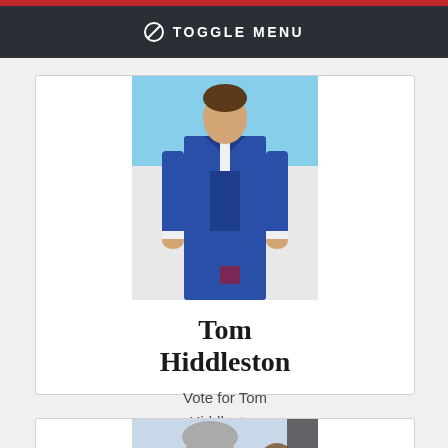TOGGLE MENU
[Figure (photo): Man in blue three-piece suit, standing, Cannes film festival backdrop]
Tom Hiddleston
Vote for Tom Hiddleston
[Figure (photo): Older man with grey hair smiling, wearing dark suit, outdoors]